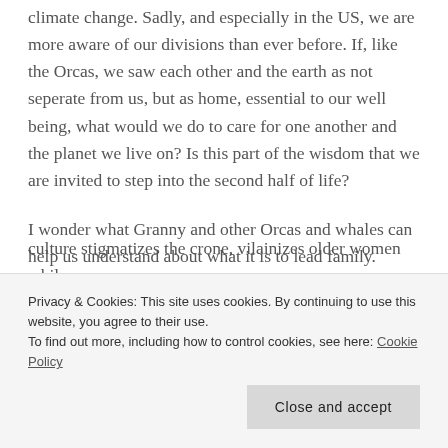climate change. Sadly, and especially in the US, we are more aware of our divisions than ever before. If, like the Orcas, we saw each other and the earth as not seperate from us, but as home, essential to our well being, what would we do to care for one another and the planet we live on? Is this part of the wisdom that we are invited to step into the second half of life?
I wonder what Granny and other Orcas and whales can help us understand about what it is to lead family. Especially if we take it in a broader context than just a chosen or biological few. What does it take to come together and speak truth? I wonder what the wisdom of my own body and its natural
culture stigmatizes the crone, vilainizes older women while
Privacy & Cookies: This site uses cookies. By continuing to use this website, you agree to their use.
To find out more, including how to control cookies, see here: Cookie Policy
Close and accept